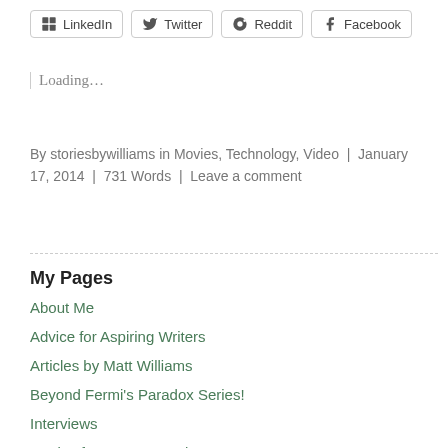[Figure (other): Social share buttons: LinkedIn, Twitter, Reddit, Facebook]
Loading...
By storiesbywilliams in Movies, Technology, Video | January 17, 2014 | 731 Words | Leave a comment
My Pages
About Me
Advice for Aspiring Writers
Articles by Matt Williams
Beyond Fermi's Paradox Series!
Interviews
Stories from Space Podcast...